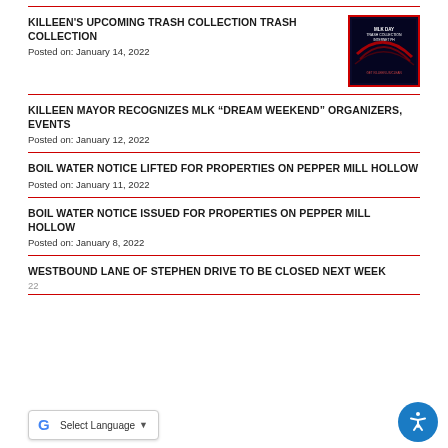KILLEEN'S UPCOMING TRASH COLLECTION TRASH COLLECTION
Posted on: January 14, 2022
KILLEEN MAYOR RECOGNIZES MLK “DREAM WEEKEND” ORGANIZERS, EVENTS
Posted on: January 12, 2022
BOIL WATER NOTICE LIFTED FOR PROPERTIES ON PEPPER MILL HOLLOW
Posted on: January 11, 2022
BOIL WATER NOTICE ISSUED FOR PROPERTIES ON PEPPER MILL HOLLOW
Posted on: January 8, 2022
WESTBOUND LANE OF STEPHEN DRIVE TO BE CLOSED NEXT WEEK
Posted on: January [date], 2022